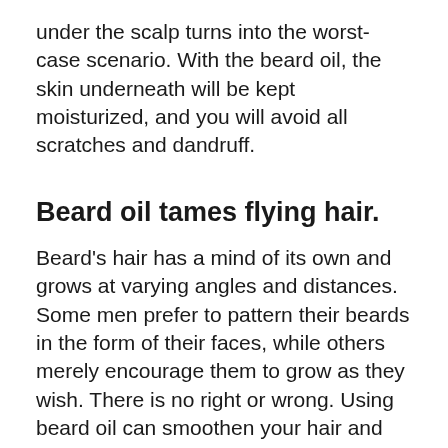under the scalp turns into the worst-case scenario. With the beard oil, the skin underneath will be kept moisturized, and you will avoid all scratches and dandruff.
Beard oil tames flying hair.
Beard's hair has a mind of its own and grows at varying angles and distances. Some men prefer to pattern their beards in the form of their faces, while others merely encourage them to grow as they wish. There is no right or wrong. Using beard oil can smoothen your hair and make it more supple and manageable.